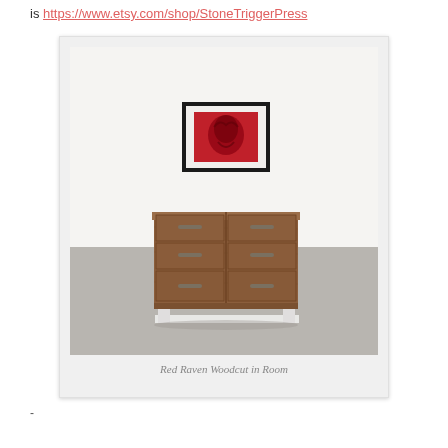is https://www.etsy.com/shop/StoneTriggerPress
[Figure (photo): A polaroid-style framed image showing a room scene with a wooden dresser and a framed red raven woodcut print hanging on the wall above it. The dresser has six drawers with metal handles and sits on white legs on a concrete floor.]
Red Raven Woodcut in Room
-